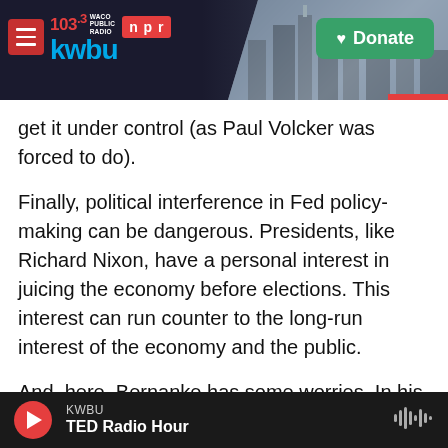[Figure (screenshot): KWBU 103.3 Waco Public Radio NPR logo header with Donate button and city background image]
get it under control (as Paul Volcker was forced to do).
Finally, political interference in Fed policy-making can be dangerous. Presidents, like Richard Nixon, have a personal interest in juicing the economy before elections. This interest can run counter to the long-run interest of the economy and the public.
And, here, Bernanke has some worries. In his book, he frets about former President Donald Trump's frequent Twitter tirades against Fed Chair Jerome Powell, a man Trump himself had appointed to be
KWBU TED Radio Hour